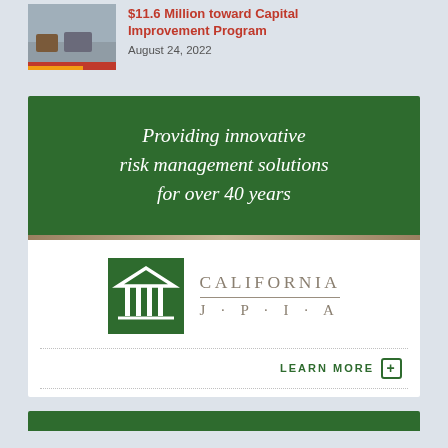$11.6 Million toward Capital Improvement Program
August 24, 2022
[Figure (infographic): California JPIA advertisement banner: green background with italic white text 'Providing innovative risk management solutions for over 40 years', below white panel with California JPIA logo (green square with pillar icon) and LEARN MORE button]
[Figure (photo): Thumbnail photo of street scene with parked cars, decorative red/gold bar at bottom]